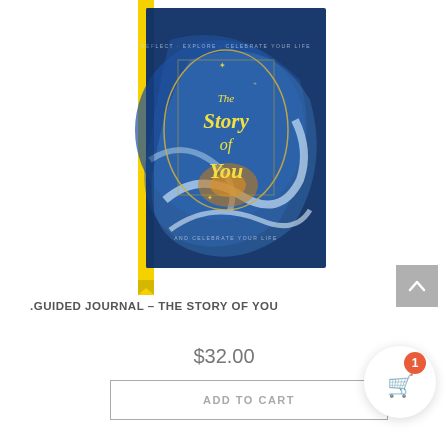[Figure (photo): A hardcover journal book titled 'The Story of You' with a blue and gold marbled cover featuring swirling patterns. A bright yellow ribbon bookmark extends from the bottom of the book. The cover has cursive gold text reading 'The Story of You' in the center.]
.GUIDED JOURNAL – THE STORY OF YOU
$32.00
ADD TO CART